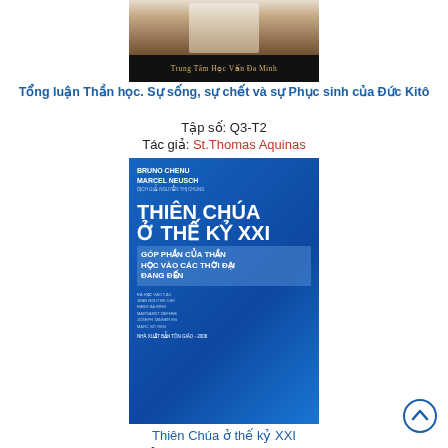[Figure (photo): Top portion of a book cover for 'Tổng luận Thần học' showing a religious figure and the banner 'Trung Tâm Học Vấn Đa Minh']
Tổng luận Thần học. Sự sống, sự chết và sự Phục sinh của Đức Kitô
Tập số: Q3-T2
Tác giả: St.Thomas Aquinas
[Figure (photo): Book cover of 'Thiên Chúa ở Thế Kỷ XXI - Góp Phần Của Thần Học Vào Các Thời Đại Đang Đến' by Bruno Chenu, Marcel Neusch, blue cover with bold white title text]
Thiên Chúa ở thế kỷ XXI
Tác giả: Bruno Chenu, Marcel Neusch
[Figure (photo): Partial view of a third book cover with blue background showing 'St Thomas']